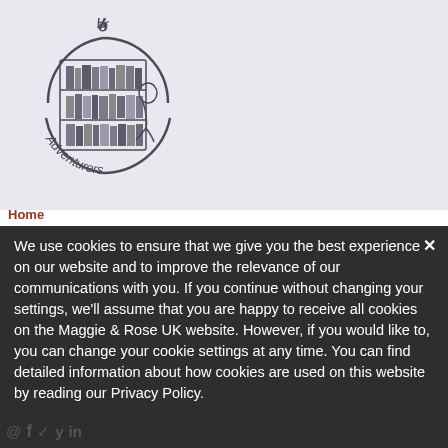[Figure (logo): Book Adventurers logo: circular design with text 'Book' at top and 'Adventurers' at bottom, with an illustration of a bookshelf in the center]
Home
We use cookies to ensure that we give you the best experience on our website and to improve the relevance of our communications with you. If you continue without changing your settings, we'll assume that you are happy to receive all cookies on the Maggie & Rose UK website. However, if you would like to, you can change your cookie settings at any time. You can find detailed information about how cookies are used on this website by reading our Privacy Policy.